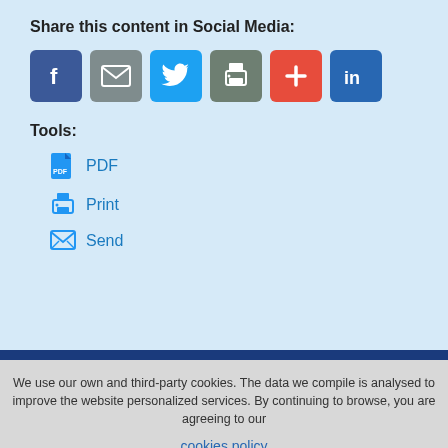Share this content in Social Media:
[Figure (infographic): Six social media share buttons: Facebook (blue), Email (grey), Twitter (blue), Print (grey-green), Add/Plus (red), LinkedIn (blue)]
Tools:
PDF
Print
Send
[Figure (infographic): Dark blue footer bar with two circular social/action icon buttons]
We use our own and third-party cookies. The data we compile is analysed to improve the website personalized services. By continuing to browse, you are agreeing to our cookies policy
Aceptar